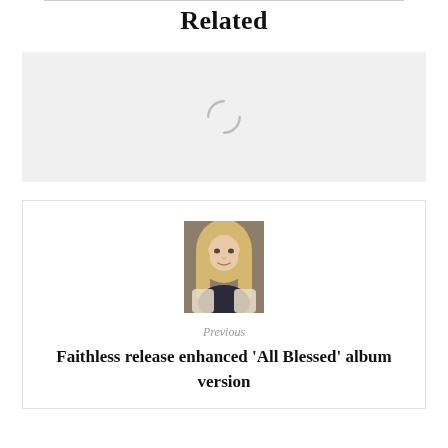Related
[Figure (other): Loading spinner / placeholder box with a circular arc spinner icon on a light gray background]
[Figure (photo): Portrait photo of a blonde woman in a dark top with a light cardigan, used as a navigation thumbnail]
Previous
Faithless release enhanced ‘All Blessed’ album version